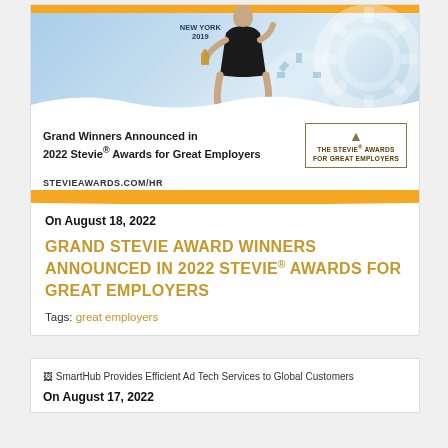[Figure (photo): Banner image for 2022 Stevie Awards for Great Employers showing a woman holding a trophy, with gears in background and orange wave bottom. Text: NEW YORK 2019. Sub-banner: Grand Winners Announced in 2022 Stevie® Awards for Great Employers, STEVIEAWARDS.COM/HR, The Stevie Awards for Great Employers logo.]
On August 18, 2022
GRAND STEVIE AWARD WINNERS ANNOUNCED IN 2022 STEVIE® AWARDS FOR GREAT EMPLOYERS
Tags: great employers
[Figure (photo): Broken image placeholder for: SmartHub Provides Efficient Ad Tech Services to Global Customers]
On August 17, 2022